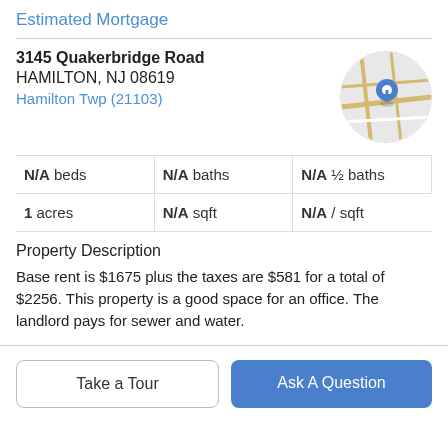Estimated Mortgage
3145 Quakerbridge Road
HAMILTON, NJ 08619
Hamilton Twp (21103)
[Figure (map): Circular map thumbnail showing street map with a blue location pin marker]
| N/A beds | N/A baths | N/A ½ baths |
| 1 acres | N/A sqft | N/A / sqft |
Property Description
Base rent is $1675 plus the taxes are $581 for a total of $2256. This property is a good space for an office. The landlord pays for sewer and water.
Take a Tour
Ask A Question